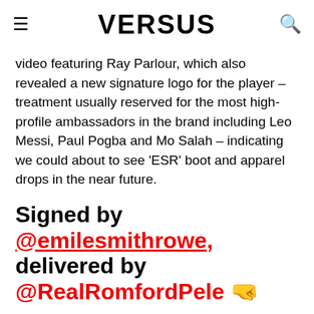VERSUS
video featuring Ray Parlour, which also revealed a new signature logo for the player – treatment usually reserved for the most high-profile ambassadors in the brand including Leo Messi, Paul Pogba and Mo Salah – indicating we could about to see 'ESR' boot and apparel drops in the near future.
Signed by @emilesmithrowe, delivered by @RealRomfordPele 🤜